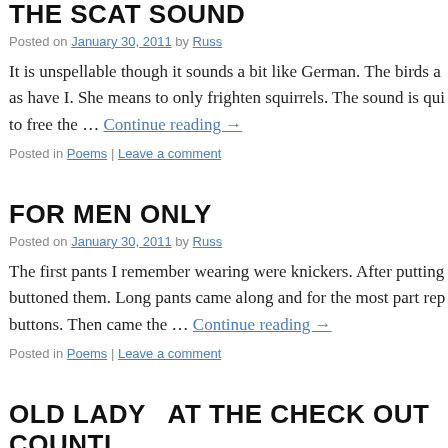THE SCAT SOUND
Posted on January 30, 2011 by Russ
It is unspellable though it sounds a bit like German. The birds a… as have I. She means to only frighten squirrels. The sound is qui… to free the … Continue reading →
Posted in Poems | Leave a comment
FOR MEN ONLY
Posted on January 30, 2011 by Russ
The first pants I remember wearing were knickers. After putting… buttoned them. Long pants came along and for the most part rep… buttons. Then came the … Continue reading →
Posted in Poems | Leave a comment
OLD LADY  AT THE CHECK OUT COUNTI…